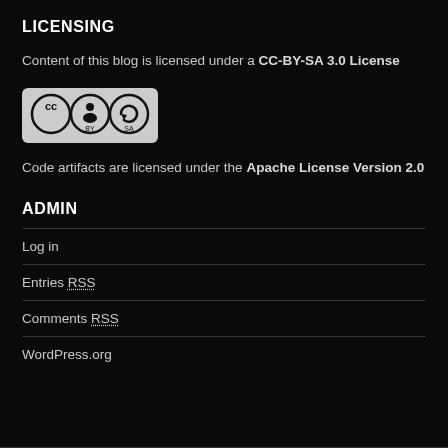LICENSING
Content of this blog is licensed under a CC-BY-SA 3.0 License
[Figure (logo): Creative Commons CC BY SA license badge icon]
Code artifacts are licensed under the Apache License Version 2.0
ADMIN
Log in
Entries RSS
Comments RSS
WordPress.org